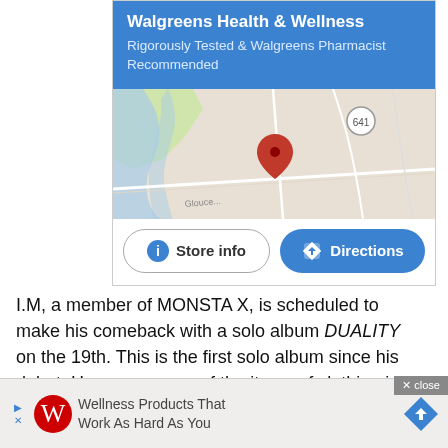[Figure (screenshot): Walgreens Health & Wellness advertisement with blue header, Google Maps map showing a location pin near road 641, and two buttons: Store info and Directions]
I.M, a member of MONSTA X, is scheduled to make his comeback with a solo album DUALITY on the 19th. This is the first solo album since his debut. However, some of the items of clothing in the recently released concept photos have become controversial, which the company eventually apolo... ment has is... ish.
[Figure (screenshot): Bottom advertisement banner: Wellness Products That Work As Hard As You with Walgreens W logo and directions arrow icon]